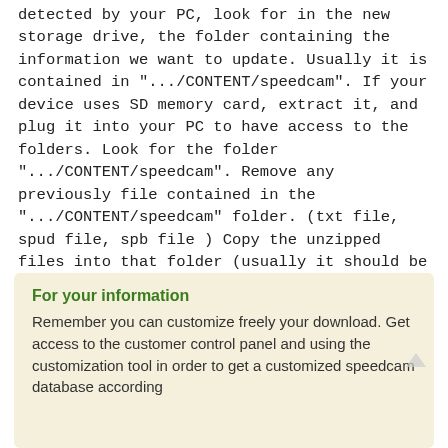detected by your PC, look for in the new storage drive, the folder containing the information we want to update. Usually it is contained in ".../CONTENT/speedcam". If your device uses SD memory card, extract it, and plug it into your PC to have access to the folders. Look for the folder ".../CONTENT/speedcam". Remove any previously file contained in the ".../CONTENT/speedcam" folder. (txt file, spud file, spb file ) Copy the unzipped files into that folder (usually it should be a txt file). Then restart your GPS device. The new spud and spb files will be created by the device. Installation is complete.
For your information
Remember you can customize freely your download. Get access to the customer control panel and using the customization tool in order to get a customized speedcam database according